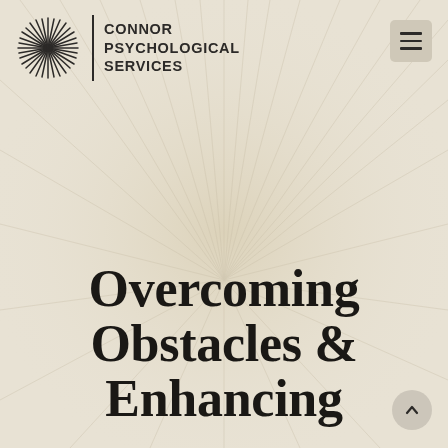[Figure (logo): Connor Psychological Services logo: starburst/dandelion-like circular pattern of radiating lines with brand name text]
Overcoming Obstacles & Enhancing